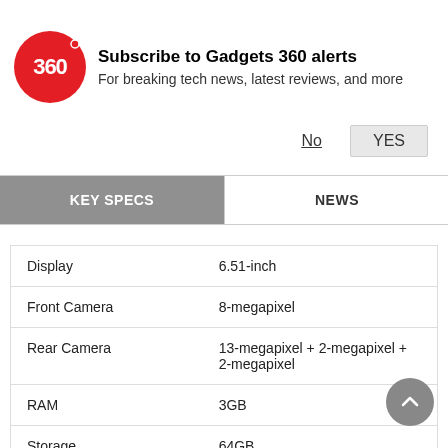[Figure (logo): Gadgets 360 red circle logo with '360' text and dot]
Subscribe to Gadgets 360 alerts
For breaking tech news, latest reviews, and more
No  YES
KEY SPECS  NEWS
|  |  |
| --- | --- |
| Display | 6.51-inch |
| Front Camera | 8-megapixel |
| Rear Camera | 13-megapixel + 2-megapixel + 2-megapixel |
| RAM | 3GB |
| Storage | 64GB |
| Battery Capacity | 5000mAh |
| OS | Android 10 |
| Resolution | 720x1600 pixels |